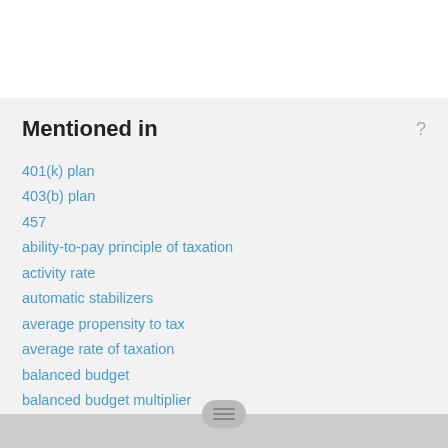Mentioned in
401(k) plan
403(b) plan
457
ability-to-pay principle of taxation
activity rate
automatic stabilizers
average propensity to tax
average rate of taxation
balanced budget
balanced budget multiplier
benefits-received principle of taxation
burden of debt